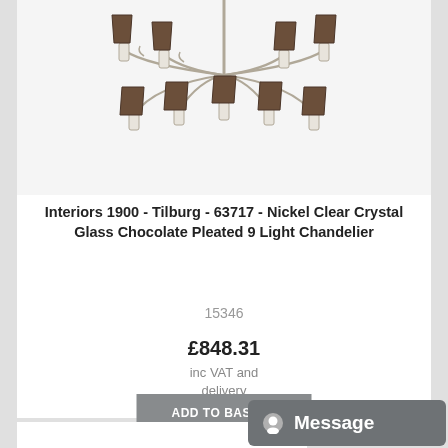[Figure (photo): A nickel crystal glass chandelier with chocolate pleated shades on 9 arms, photographed against a white background.]
Interiors 1900 - Tilburg - 63717 - Nickel Clear Crystal Glass Chocolate Pleated 9 Light Chandelier
15346
£848.31
inc VAT and delivery
ADD TO BASKET
[Figure (screenshot): Message button widget in bottom right corner with a circular icon and white text reading 'Message' on a grey background.]